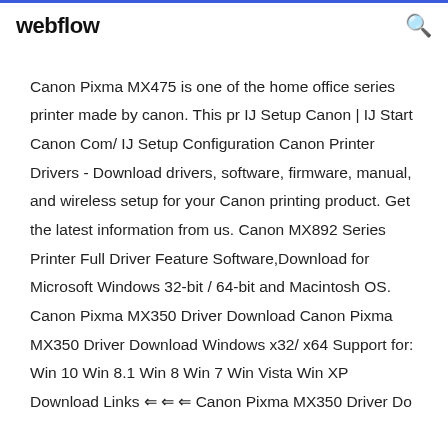webflow
Canon Pixma MX475 is one of the home office series printer made by canon. This pr IJ Setup Canon | IJ Start Canon Com/ IJ Setup Configuration Canon Printer Drivers - Download drivers, software, firmware, manual, and wireless setup for your Canon printing product. Get the latest information from us. Canon MX892 Series Printer Full Driver Feature Software,Download for Microsoft Windows 32-bit / 64-bit and Macintosh OS. Canon Pixma MX350 Driver Download Canon Pixma MX350 Driver Download Windows x32/ x64 Support for: Win 10 Win 8.1 Win 8 Win 7 Win Vista Win XP Download Links ⇐ ⇐ ⇐ Canon Pixma MX350 Driver Do